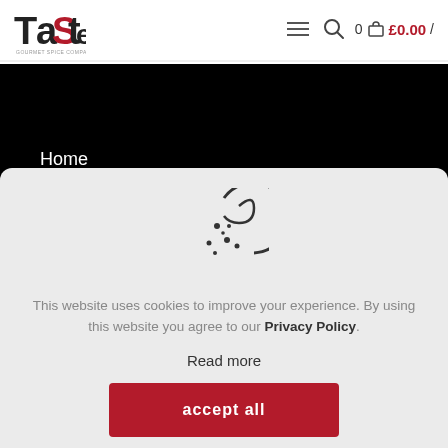Taste Gourmet Spice Company — Navigation header with logo, menu icon, search icon, cart (0), £0.00
Home
Recipes
[Figure (illustration): Cookie icon — a round cookie with a bite taken out, dark outline style]
This website uses cookies to improve your experience. By using this website you agree to our Privacy Policy.
Read more
accept all